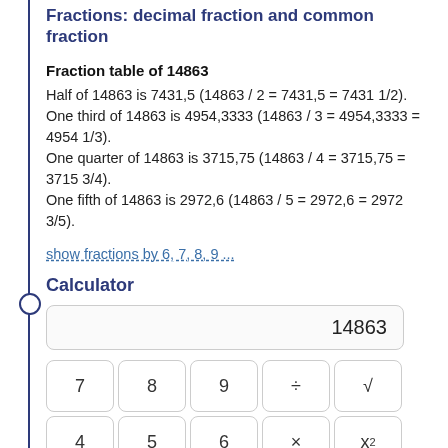Fractions: decimal fraction and common fraction
Fraction table of 14863
Half of 14863 is 7431,5 (14863 / 2 = 7431,5 = 7431 1/2). One third of 14863 is 4954,3333 (14863 / 3 = 4954,3333 = 4954 1/3). One quarter of 14863 is 3715,75 (14863 / 4 = 3715,75 = 3715 3/4). One fifth of 14863 is 2972,6 (14863 / 5 = 2972,6 = 2972 3/5).
show fractions by 6, 7, 8, 9 ...
Calculator
[Figure (screenshot): Calculator widget showing display with 14863 and keypad rows: 7 8 9 ÷ √ and 4 5 6 × x²]